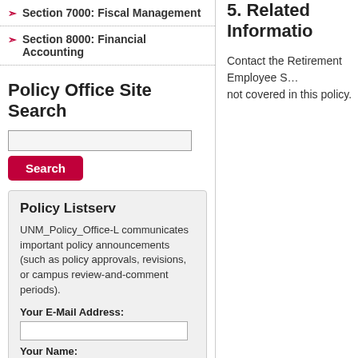Section 7000: Fiscal Management
Section 8000: Financial Accounting
Policy Office Site Search
[Figure (other): Search input box and Search button]
Policy Listserv
UNM_Policy_Office-L communicates important policy announcements (such as policy approvals, revisions, or campus review-and-comment periods).
Your E-Mail Address:
Your Name:
5. Related Informatio…
Contact the Retirement Employee S… not covered in this policy.